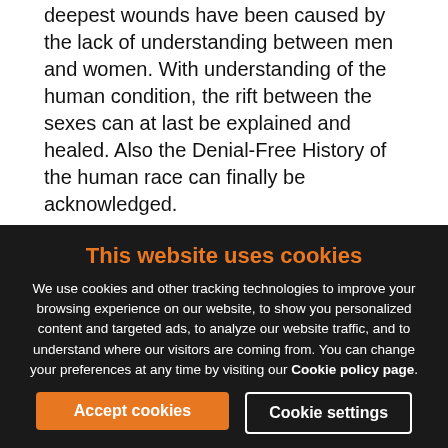deepest wounds have been caused by the lack of understanding between men and women. With understanding of the human condition, the rift between the sexes can at last be explained and healed. Also the Denial-Free History of the human race can finally be acknowledged.
4. The Demystification Of Religion, a powerful demonstration of how understanding the human condition makes it possible to demystify the world of religious metaphysics and dogma.
Note: the first 20 pages of the Introduction of A Species
This website uses cookies
We use cookies and other tracking technologies to improve your browsing experience on our website, to show you personalized content and targeted ads, to analyze our website traffic, and to understand where our visitors are coming from. You can change your preferences at any time by visiting our Cookie policy page.